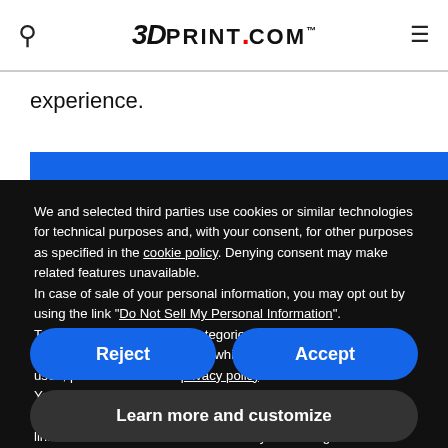3DPrint.com
experience.
We and selected third parties use cookies or similar technologies for technical purposes and, with your consent, for other purposes as specified in the cookie policy. Denying consent may make related features unavailable.
In case of sale of your personal information, you may opt out by using the link "Do Not Sell My Personal Information".
To find out more about the categories of personal information collected and the purposes for which such information will be used, please refer to our privacy policy.
You can consent to the use of such technologies by using the "Accept" button, by scrolling this page, by interacting with any link or button outside of this notice or by continuing to browse otherwise.
Reject
Accept
Learn more and customize